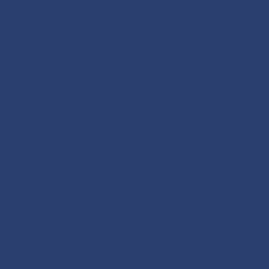| Tool | Actions |
| --- | --- |
|  | Dow... |
| Wget
(version ≥ 1.18) | Get pa...
Dow... |
| lftp |  |
| Python 3 | Dow...
List a... |
| Java | Dow... |
If you are having issues with any of th...